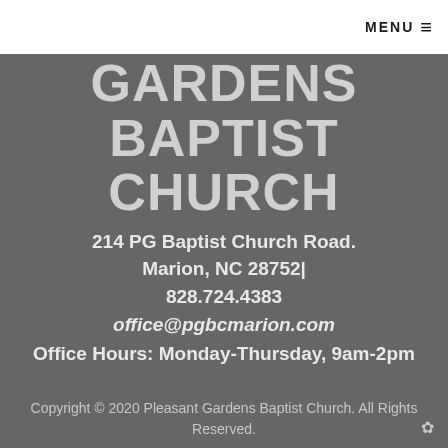MENU ☰
GARDENS BAPTIST CHURCH
214 PG Baptist Church Road. Marion, NC 28752| 828.724.4383
office@pgbcmarion.com
Office Hours: Monday-Thursday, 9am-2pm
Copyright © 2020 Pleasant Gardens Baptist Church. All Rights Reserved.